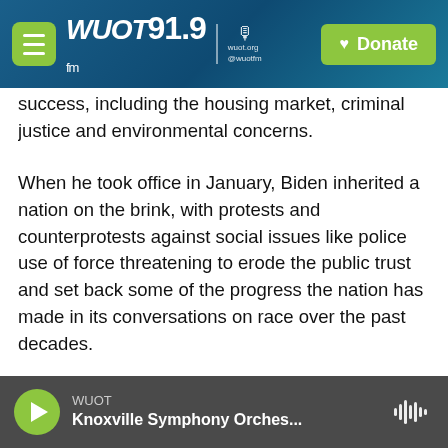WUOT 91.9 FM | wuot.org @wuotfm | Donate
plagued the institutions foundational to personal success, including the housing market, criminal justice and environmental concerns.
When he took office in January, Biden inherited a nation on the brink, with protests and counterprotests against social issues like police use of force threatening to erode the public trust and set back some of the progress the nation has made in its conversations on race over the past decades.
While Biden has faced searing criticisms from the
WUOT | Knoxville Symphony Orches...